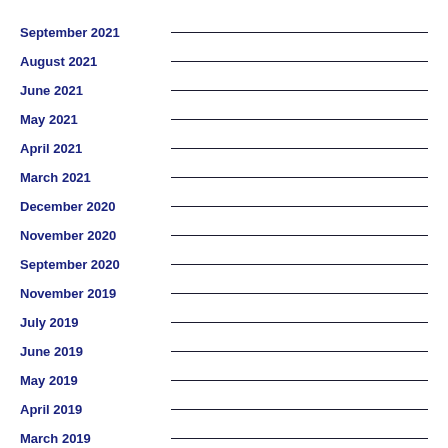September 2021
August 2021
June 2021
May 2021
April 2021
March 2021
December 2020
November 2020
September 2020
November 2019
July 2019
June 2019
May 2019
April 2019
March 2019